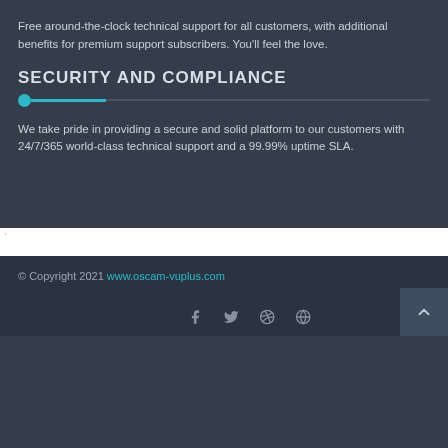Free around-the-clock technical support for all customers, with additional benefits for premium support subscribers. You'll feel the love.
SECURITY AND COMPLIANCE
We take pride in providing a secure and solid platform to our customers with 24/7/365 world-class technical support and a 99.99% uptime SLA.
© Copyright 2021 www.oscam-vuplus.com